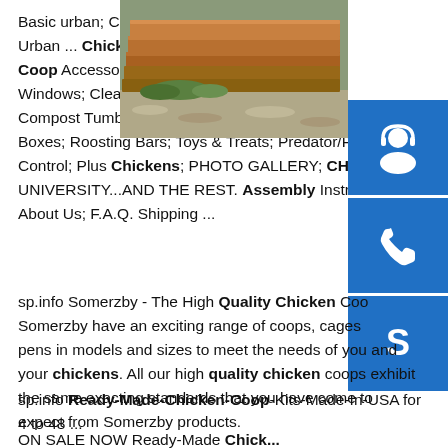Basic urban; Complete Urban ... Chicken Health; Coop Accessories; Coop Windows; Cleaning Supplies; Compost Tumbler ... Nesting Boxes; Roosting Bars; Toys & Treats; Predator/Pest Control; Plus Chickens; PHOTO GALLERY; CHIC UNIVERSITY...AND THE REST. Assembly Instruc About Us; F.A.Q. Shipping ...
[Figure (photo): Stack of brown/rust colored metal plates or sheets piled outdoors]
[Figure (infographic): Three blue icon buttons on the right sidebar: headset/customer support icon, phone/call icon, and Skype icon]
sp.info Somerzby - The High Quality Chicken Coo Somerzby have an exciting range of coops, cages pens in models and sizes to meet the needs of you and your chickens. All our high quality chicken coops exhibit the same exacting standards that you have come to expect from Somerzby products.
sp.info Ready-Made-Chicken-Coop-Kits-Made-In-USA for 4 to 48 ...
ON SALE NOW Ready-Made Chicken and Pen C...